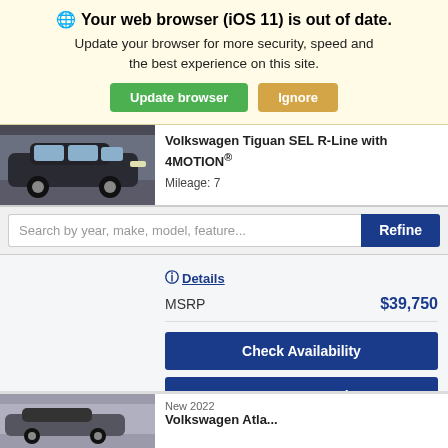🌐 Your web browser (iOS 11) is out of date. Update your browser for more security, speed and the best experience on this site.
Update browser | Ignore
Volkswagen Tiguan SEL R-Line with 4MOTION®
Mileage: 7
Search by year, make, model, feature...
Refine
Details
MSRP  $39,750
Check Availability
See Payment Options
New 2022
Volkswagen Atla...